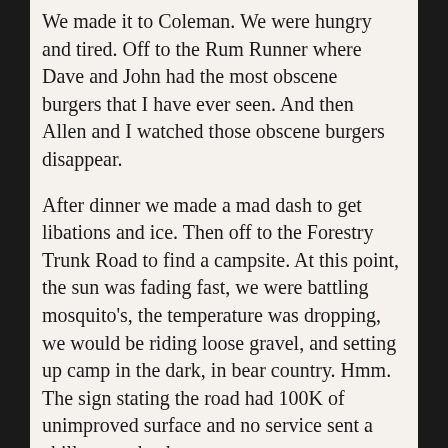We made it to Coleman. We were hungry and tired.  Off to the Rum Runner where Dave and John had the most obscene burgers that I have ever seen.  And then Allen and I watched those obscene burgers disappear.
After dinner we made a mad dash to get libations and ice.  Then off to the Forestry Trunk Road to find a campsite.  At this point, the sun was fading fast, we were battling mosquito's, the temperature was dropping, we would be riding loose gravel, and setting up camp in the dark, in bear country. Hmm.  The sign stating the road had 100K of unimproved surface and no service sent a chill up my back.
A few miles up the road, we followed a dirt track off the main gravel road looking for a campsite. The site was littered with beer cans. Not the best. Off to...